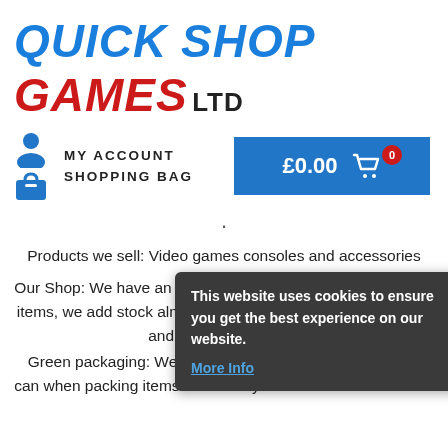QUICK SHOP GAMES LTD
MY ACCOUNT
SHOPPING BAG
£0.00  0
.
Products we sell: Video games consoles and accessories
Our Shop: We have an Ebay shop check it out for more great items, we add stock almost everyday so why not check it out and follow us on Ebay
[Figure (screenshot): Cookie consent popup overlay with dark background saying: This website uses cookies to ensure you get the best experience on our website. More Info]
Green packaging: We re use any packaging materials we can when packing items for delivery to save the environment.